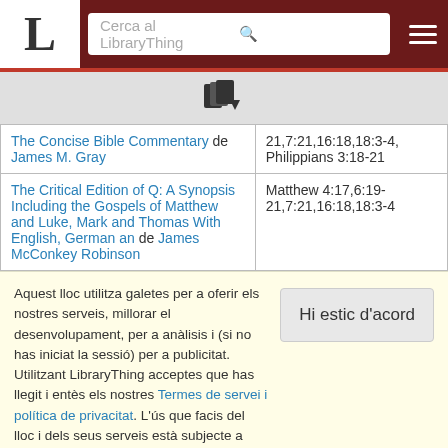LibraryThing - Cerca al LibraryThing
| Book | References |
| --- | --- |
| The Concise Bible Commentary de James M. Gray | 21,7:21,16:18,18:3-4, Philippians 3:18-21 |
| The Critical Edition of Q: A Synopsis Including the Gospels of Matthew and Luke, Mark and Thomas With English, German an de James McConkey Robinson | Matthew 4:17,6:19-21,7:21,16:18,18:3-4 |
Aquest lloc utilitza galetes per a oferir els nostres serveis, millorar el desenvolupament, per a anàlisis i (si no has iniciat la sessió) per a publicitat. Utilitzant LibraryThing acceptes que has llegit i entès els nostres Termes de servei i política de privacitat. L'ús que facis del lloc i dels seus serveis està subjecte a aquestes polítiques i termes.
Hi estic d'acord